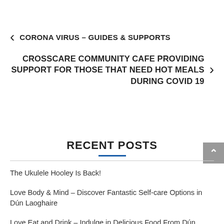CORONA VIRUS – GUIDES & SUPPORTS
CROSSCARE COMMUNITY CAFE PROVIDING SUPPORT FOR THOSE THAT NEED HOT MEALS DURING COVID 19
RECENT POSTS
The Ukulele Hooley Is Back!
Love Body & Mind – Discover Fantastic Self-care Options in Dún Laoghaire
Love Eat and Drink – Indulge in Delicious Food From Dún